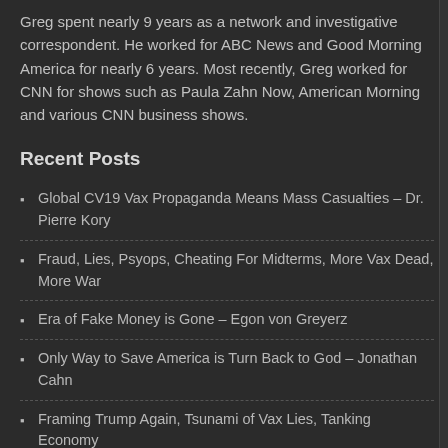Greg spent nearly 9 years as a network and investigative correspondent. He worked for ABC News and Good Morning America for nearly 6 years. Most recently, Greg worked for CNN for shows such as Paula Zahn Now, American Morning and various CNN business shows.
Recent Posts
Global CV19 Vax Propaganda Means Mass Casualties – Dr. Pierre Kory
Fraud, Lies, Psyops, Cheating For Midterms, More Vax Dead, More War
Era of Fake Money is Gone – Egon von Greyerz
Only Way to Save America is Turn Back to God – Jonathan Cahn
Framing Trump Again, Tsunami of Vax Lies, Tanking Economy